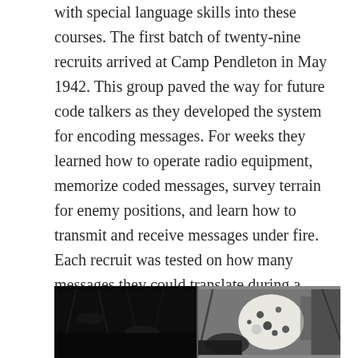with special language skills into these courses. The first batch of twenty-nine recruits arrived at Camp Pendleton in May 1942. This group paved the way for future code talkers as they developed the system for encoding messages. For weeks they learned how to operate radio equipment, memorize coded messages, survey terrain for enemy positions, and learn how to transmit and receive messages under fire. Each recruit was tested on how many messages they could translate during a firefight. If a recruit could successfully decode a three line message in under twenty seconds, they were ready for the front.
[Figure (photo): Two black and white photographs side by side showing soldiers or figures in dark jungle/field settings. Left photo is very dark with some branch-like shapes. Right photo shows a figure with spotted camouflage or gear among foliage.]